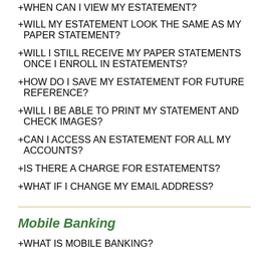+ WHEN CAN I VIEW MY ESTATEMENT?
+ WILL MY ESTATEMENT LOOK THE SAME AS MY PAPER STATEMENT?
+ WILL I STILL RECEIVE MY PAPER STATEMENTS ONCE I ENROLL IN ESTATEMENTS?
+ HOW DO I SAVE MY ESTATEMENT FOR FUTURE REFERENCE?
+ WILL I BE ABLE TO PRINT MY STATEMENT AND CHECK IMAGES?
+ CAN I ACCESS AN ESTATEMENT FOR ALL MY ACCOUNTS?
+ IS THERE A CHARGE FOR ESTATEMENTS?
+ WHAT IF I CHANGE MY EMAIL ADDRESS?
Mobile Banking
+ WHAT IS MOBILE BANKING?